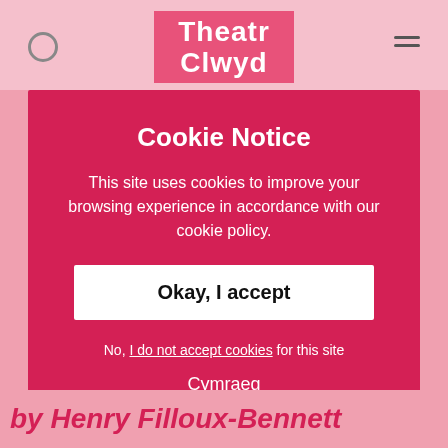Theatr Clwyd
Cookie Notice
This site uses cookies to improve your browsing experience in accordance with our cookie policy.
Okay, I accept
No, I do not accept cookies for this site
Cymraeg
by Henry Filloux-Bennett